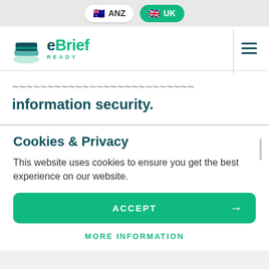ANZ | UK
[Figure (logo): eBrief Ready logo with stacked layers icon, teal and dark teal colors]
information security.
Cookies & Privacy
This website uses cookies to ensure you get the best experience on our website.
ACCEPT →
MORE INFORMATION